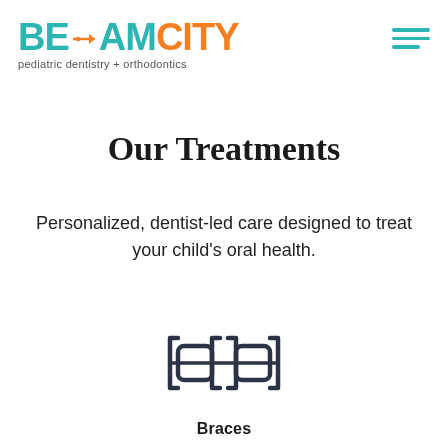[Figure (logo): BeamCity pediatric dentistry + orthodontics logo with teal and orange lettering and arrow motif]
Our Treatments
Personalized, dentist-led care designed to treat your child's oral health.
[Figure (illustration): Icon of dental braces — two square bracket shapes with two squares inside connected by a horizontal wire]
Braces